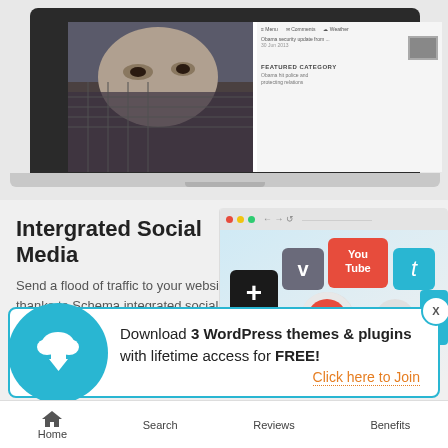[Figure (screenshot): Laptop screenshot showing a person with face covering on left side, and a website with featured category on right side]
Intergrated Social Media
Send a flood of traffic to your website, thanks to Schema integrated social media sharing functionality.
[Figure (screenshot): Browser window showing social media icons cluster including YouTube, Pinterest, Facebook, Vimeo, LinkedIn and other icons]
Download 3 WordPress themes & plugins with lifetime access for FREE!
Click here to Join
Home   Search   Reviews   Benefits